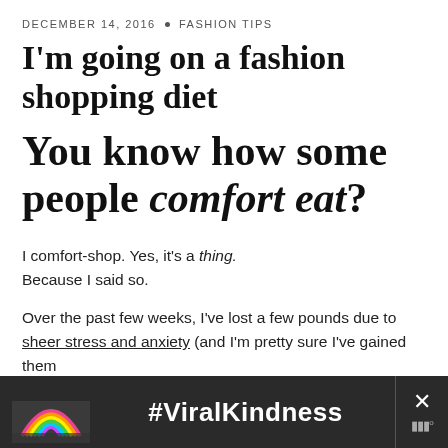DECEMBER 14, 2016 • FASHION TIPS
I'm going on a fashion shopping diet
You know how some people comfort eat?
I comfort-shop. Yes, it's a thing. Because I said so.
Over the past few weeks, I've lost a few pounds due to sheer stress and anxiety (and I'm pretty sure I've gained them
[Figure (other): Advertisement banner with rainbow illustration and text #ViralKindness on dark background, with a close button on the right]